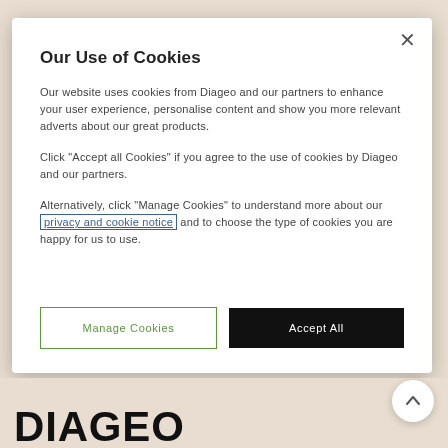Our Use of Cookies
Our website uses cookies from Diageo and our partners to enhance your user experience, personalise content and show you more relevant adverts about our great products.
Click "Accept all Cookies" if you agree to the use of cookies by Diageo and our partners.
Alternatively, click "Manage Cookies" to understand more about our privacy and cookie notice and to choose the type of cookies you are happy for us to use.
Manage Cookies
Accept All
DIAGEO